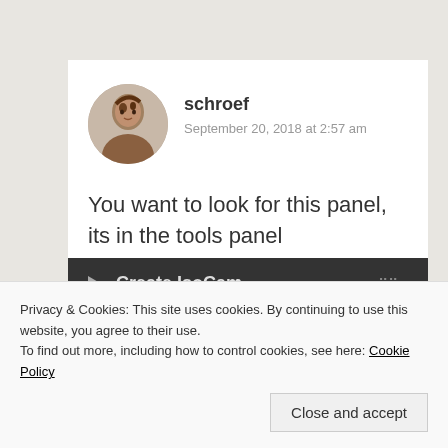schroef
September 20, 2018 at 2:57 am
You want to look for this panel, its in the tools panel
[Figure (screenshot): Dark UI panel showing 'Create IsoCam' with a play/arrow button and grid icon]
Privacy & Cookies: This site uses cookies. By continuing to use this website, you agree to their use.
To find out more, including how to control cookies, see here: Cookie Policy
Close and accept